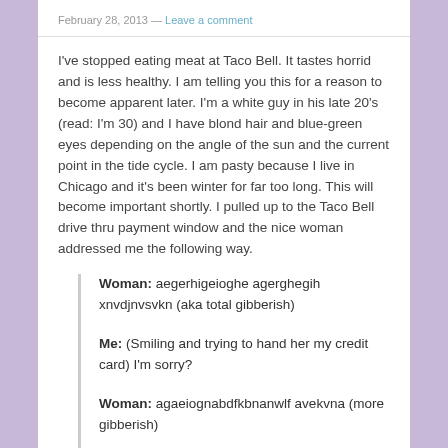February 28, 2013 — Leave a comment
I've stopped eating meat at Taco Bell. It tastes horrid and is less healthy. I am telling you this for a reason to become apparent later. I'm a white guy in his late 20's (read: I'm 30) and I have blond hair and blue-green eyes depending on the angle of the sun and the current point in the tide cycle. I am pasty because I live in Chicago and it's been winter for far too long. This will become important shortly. I pulled up to the Taco Bell drive thru payment window and the nice woman addressed me the following way.
Woman: aegerhigeioghe agerghegih xnvdjnvsvkn (aka total gibberish)
Me: (Smiling and trying to hand her my credit card) I'm sorry?
Woman: agaeiognabdfkbnanwlf avekvna (more gibberish)
Me: (Feigning understanding) Oh, Yes! (Still